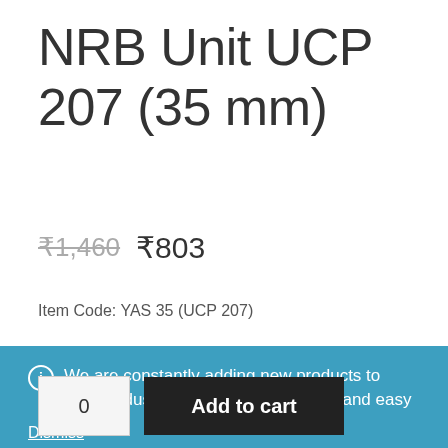NRB Unit UCP 207 (35 mm)
₹1,460  ₹803
Item Code: YAS 35 (UCP 207)
We are constantly adding new products to make industrial buying cost-effective and easy
Dismiss
0
Add to cart